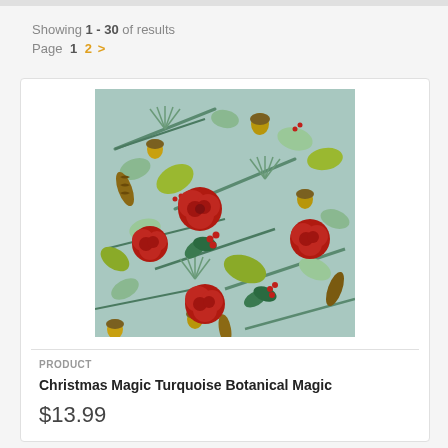Showing 1 - 30 of results
Page  1  2  >
[Figure (photo): Fabric swatch showing Christmas botanical pattern with red roses, pine branches, acorns, and berries on a turquoise/teal background]
PRODUCT
Christmas Magic Turquoise Botanical Magic
$13.99